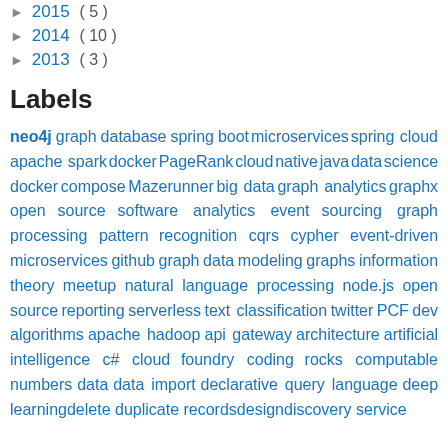► 2015 ( 5 )
► 2014 ( 10 )
► 2013 ( 3 )
Labels
neo4j graph database spring boot microservices spring cloud apache spark docker PageRank cloud native java data science docker compose Mazerunner big data graph analytics graphx open source software analytics event sourcing graph processing pattern recognition cqrs cypher event-driven microservices github graph data modeling graphs information theory meetup natural language processing node.js open source reporting serverless text classification twitter PCF dev algorithms apache hadoop api gateway architecture artificial intelligence c# cloud foundry coding rocks computable numbers data data import declarative query language deep learning delete duplicate records design discovery service